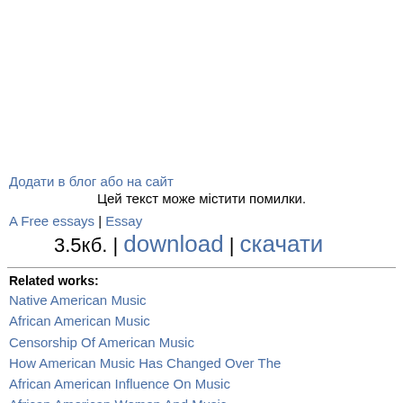Додати в блог або на сайт
Цей текст може містити помилки.
A Free essays | Essay
3.5кб. | download | скачати
Related works:
Native American Music
African American Music
Censorship Of American Music
How American Music Has Changed Over The
African American Influence On Music
African American Women And Music